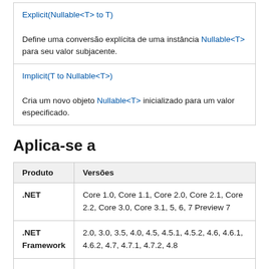| Explicit(Nullable<T> to T) | Define uma conversão explícita de uma instância Nullable<T> para seu valor subjacente. |
| Implicit(T to Nullable<T>) | Cria um novo objeto Nullable<T> inicializado para um valor especificado. |
Aplica-se a
| Produto | Versões |
| --- | --- |
| .NET | Core 1.0, Core 1.1, Core 2.0, Core 2.1, Core 2.2, Core 3.0, Core 3.1, 5, 6, 7 Preview 7 |
| .NET Framework | 2.0, 3.0, 3.5, 4.0, 4.5, 4.5.1, 4.5.2, 4.6, 4.6.1, 4.6.2, 4.7, 4.7.1, 4.7.2, 4.8 |